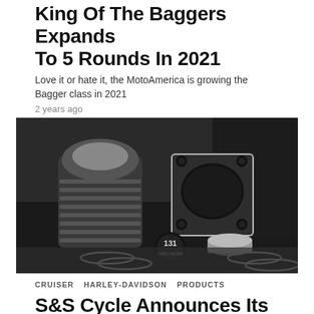King Of The Baggers Expands To 5 Rounds In 2021
Love it or hate it, the MotoAmerica is growing the Bagger class in 2021
2 years ago
[Figure (photo): Motorcycle engine components including a finned cylinder, cylinder block, piston, and rings laid out on a metal surface, with a '131 Cubic Inches' badge visible.]
CRUISER   HARLEY-DAVIDSON   PRODUCTS
S&S Cycle Announces Its 131 Cubic Inch Stroker Kit for